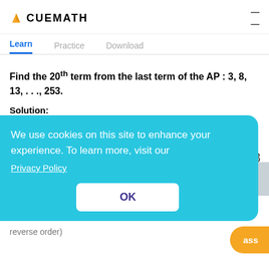CUEMATH
Learn | Practice | Download
Find the 20th term from the last term of the AP : 3, 8, 13, . . ., 253.
Solution:
The formula for nth term of an AP is aₙ = a + (n - 1) d
Here, aₙ is the nth term, a is the first term, d is the
We use cookies on this site to enhance your experience. To learn more, visit our Privacy Policy
OK
reverse order)